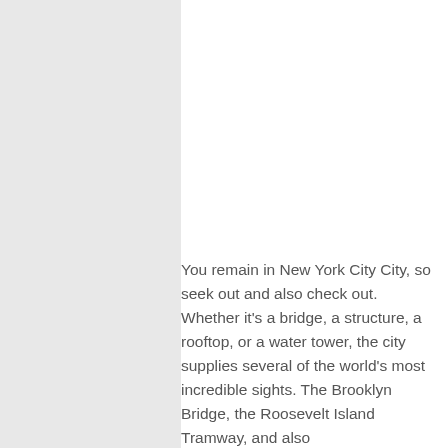You remain in New York City City, so seek out and also check out. Whether it's a bridge, a structure, a rooftop, or a water tower, the city supplies several of the world's most incredible sights. The Brooklyn Bridge, the Roosevelt Island Tramway, and also